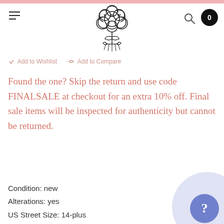[Figure (logo): NNW flower bouquet logo — two flowers forming initials N N W in a stylized bouquet illustration]
Add to Wishlist   Add to Compare
Found the one? Skip the return and use code FINALSALE at checkout for an extra 10% off. Final sale items will be inspected for authenticity but cannot be returned.
Condition: new
Alterations: yes
US Street Size: 14-plus
Dress Tag Size: 16
Bust: 40